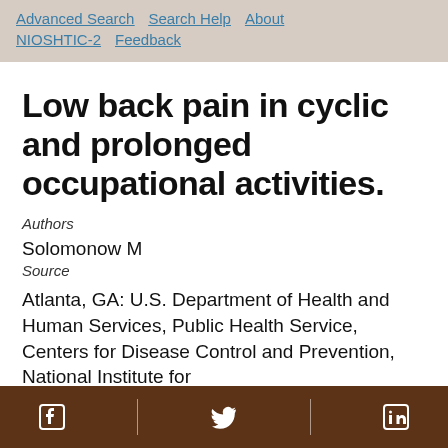Advanced Search  Search Help  About NIOSHTIC-2  Feedback
Low back pain in cyclic and prolonged occupational activities.
Authors
Solomonow M
Source
Atlanta, GA: U.S. Department of Health and Human Services, Public Health Service, Centers for Disease Control and Prevention, National Institute for
Facebook  Twitter  LinkedIn